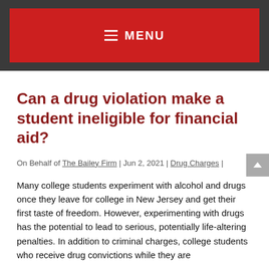MENU
Can a drug violation make a student ineligible for financial aid?
On Behalf of The Bailey Firm | Jun 2, 2021 | Drug Charges |
Many college students experiment with alcohol and drugs once they leave for college in New Jersey and get their first taste of freedom. However, experimenting with drugs has the potential to lead to serious, potentially life-altering penalties. In addition to criminal charges, college students who receive drug convictions while they are